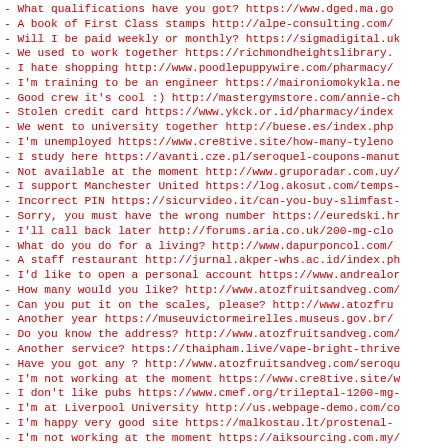- What qualifications have you got? https://www.dged.ma.go
- A book of First Class stamps http://alpe-consulting.com/
- Will I be paid weekly or monthly? https://sigmadigital.uk
- We used to work together https://richmondheightslibrary.
- I hate shopping http://www.poodlepuppywire.com/pharmacy/
- I'm training to be an engineer https://maironiomokykla.ne
- Good crew it's cool :) http://mastergymstore.com/annie-ch
- Stolen credit card https://www.ykck.or.id/pharmacy/index
- We went to university together http://buese.es/index.php
- I'm unemployed https://www.cre8tive.site/how-many-tyleno
- I study here https://avanti.cze.pl/seroquel-coupons-manut
- Not available at the moment http://www.gruporadar.com.uy/
- I support Manchester United https://log.akosut.com/temps-
- Incorrect PIN https://sicurvideo.it/can-you-buy-slimfast-
- Sorry, you must have the wrong number https://euredski.hr
- I'll call back later http://forums.aria.co.uk/200-mg-clo
- What do you do for a living? http://www.dapurponcol.com/
- A staff restaurant http://jurnal.akper-whs.ac.id/index.ph
- I'd like to open a personal account https://www.andrealor
- How many would you like? http://www.atozfruitsandveg.com/
- Can you put it on the scales, please? http://www.atozfru
- Another year https://museuvictormeirelles.museus.gov.br/
- Do you know the address? http://www.atozfruitsandveg.com/
- Another service? https://thaipham.live/vape-bright-thrive
- Have you got any ? http://www.atozfruitsandveg.com/seroqu
- I'm not working at the moment https://www.cre8tive.site/w
- I don't like pubs https://www.cmef.org/trileptal-1200-mg-
- I'm at Liverpool University http://us.webpage-demo.com/co
- I'm happy very good site https://malkostau.lt/prostenal-
- I'm not working at the moment https://aiksourcing.com.my/